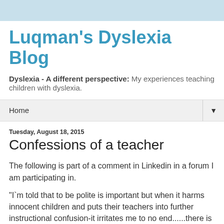Luqman's Dyslexia Blog
Dyslexia - A different perspective: My experiences teaching children with dyslexia.
Home
Tuesday, August 18, 2015
Confessions of a teacher
The following is part of a comment in Linkedin in a forum I am participating in.
"I`m told that to be polite is important but when it harms innocent children and puts their teachers into further instructional confusion-it irritates me to no end......there is barely a whimper of "how to teach reading" in the early grades.The factory of labeling the victim is still in place,I think 99% of the problems are dystoachia brought on by